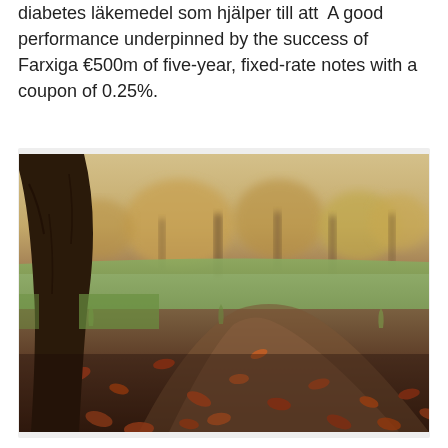diabetes läkemedel som hjälper till att  A good performance underpinned by the success of Farxiga €500m of five-year, fixed-rate notes with a coupon of 0.25%.
[Figure (photo): Autumn park scene showing a dirt path covered with fallen orange and brown leaves, a tree trunk on the left, green grass, and blurred trees in the background with warm golden tones.]